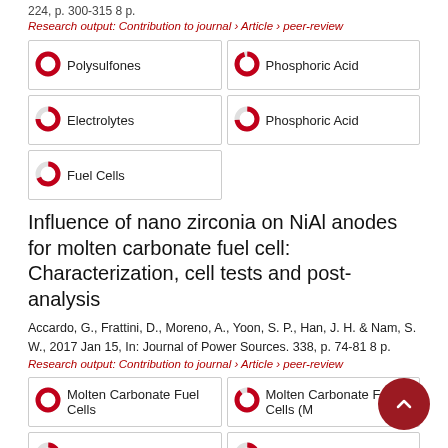224, p. 300-315 8 p.
Research output: Contribution to journal › Article › peer-review
Polysulfones
Phosphoric Acid
Electrolytes
Phosphoric Acid
Fuel Cells
Influence of nano zirconia on NiAl anodes for molten carbonate fuel cell: Characterization, cell tests and post-analysis
Accardo, G., Frattini, D., Moreno, A., Yoon, S. P., Han, J. H. & Nam, S. W., 2017 Jan 15, In: Journal of Power Sources. 338, p. 74-81 8 p.
Research output: Contribution to journal › Article › peer-review
Molten Carbonate Fuel Cells
Molten Carbonate Fuel Cells (M
Zirconia
Zirconium Oxides
Anodes